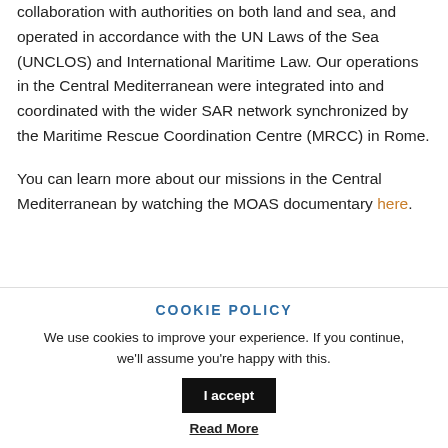collaboration with authorities on both land and sea, and operated in accordance with the UN Laws of the Sea (UNCLOS) and International Maritime Law. Our operations in the Central Mediterranean were integrated into and coordinated with the wider SAR network synchronized by the Maritime Rescue Coordination Centre (MRCC) in Rome.
You can learn more about our missions in the Central Mediterranean by watching the MOAS documentary here.
COOKIE POLICY
We use cookies to improve your experience. If you continue, we'll assume you're happy with this.
I accept
Read More